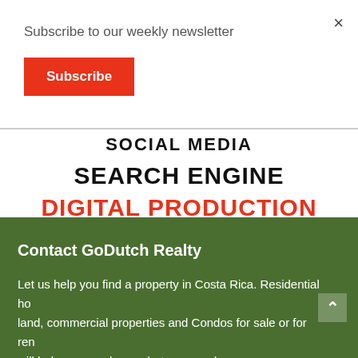×
Subscribe to our weekly newsletter
Subscribe
SOCIAL MEDIA
SEARCH ENGINE
DIGITAL PRODUCTION
Contact GoDutch Realty
Let us help you find a property in Costa Rica. Residential ho land, commercial properties and Condos for sale or for ren will help you purchase what you need.